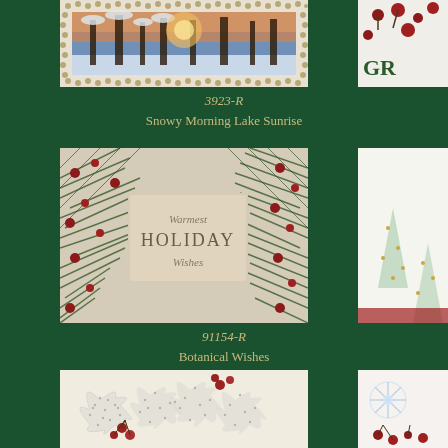[Figure (photo): Holiday greeting card showing snowy winter scene with trees and sunset, white pearl/bead border frame around the photograph]
[Figure (photo): Partial view of a holiday card on the right side showing red berries and green text GR...]
3923-R
Snowy Morning Lake Sunrise
[Figure (photo): Holiday greeting card with pine needles, red berries botanical design surrounding a beige center panel reading Warmest HOLIDAY Wishes in script and serif fonts]
[Figure (photo): Partial view of a holiday card on the right side showing gold/silver Christmas trees illustration]
91154-R
Botanical Wishes
[Figure (photo): Holiday greeting card showing silver/white holly leaves with red berries rendered in a sparkly dotted illustration style on cream background]
[Figure (photo): Partial view of a holiday card on the right side showing snowflake and red berries design]